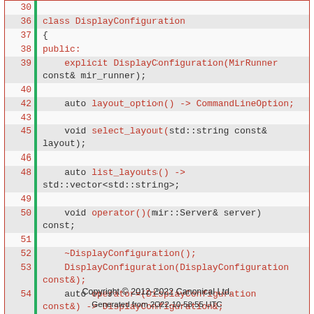[Figure (screenshot): C++ source code showing class DisplayConfiguration definition with line numbers 30-62, featuring syntax highlighting with orange/red keywords and green sidebar bar]
Copyright © 2012-2022 Canonical Ltd.
Generated from 2022-10-58:55 UTC